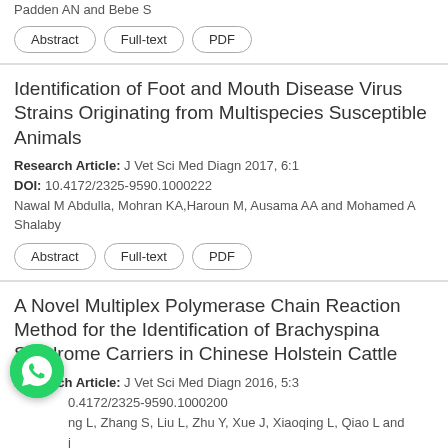Padden AN and Bebe S
Abstract | Full-text | PDF
Identification of Foot and Mouth Disease Virus Strains Originating from Multispecies Susceptible Animals
Research Article: J Vet Sci Med Diagn 2017, 6:1
DOI: 10.4172/2325-9590.1000222
Nawal M Abdulla, Mohran KA,Haroun M, Ausama AA and Mohamed A Shalaby
Abstract | Full-text | PDF
A Novel Multiplex Polymerase Chain Reaction Method for the Identification of Brachyspina Syndrome Carriers in Chinese Holstein Cattle
Research Article: J Vet Sci Med Diagn 2016, 5:3
DOI: 0.4172/2325-9590.1000200
ng L, Zhang S, Liu L, Zhu Y, Xue J, Xiaoqing L, Qiao L and
Abstract | Full-text | PDF